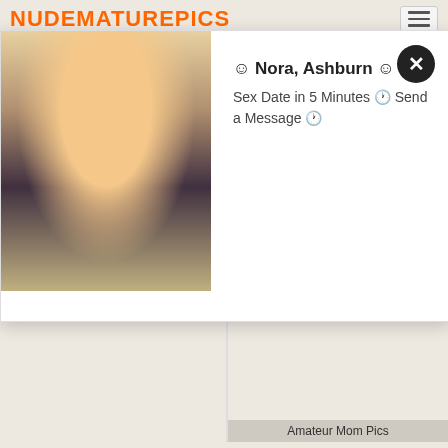NUDEMATUREPICS
[Figure (screenshot): Popup overlay with close button showing user photo and message: Nora, Ashburn - Sex Date in 5 Minutes, Send a Message]
☺ Nora, Ashburn ☺
Sex Date in 5 Minutes 🕐 Send a Message 🕐
[Figure (photo): Thumbnail image labeled Nude Old Ladys]
[Figure (photo): Thumbnail image labeled Mature Women Pics]
Free site
Free site
Amateur Mom Pics